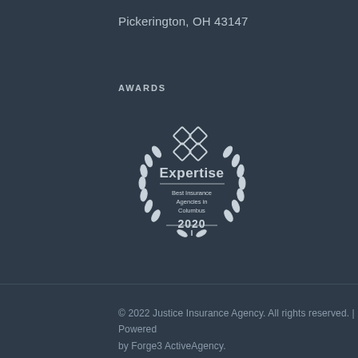Pickerington, OH 43147
AWARDS
[Figure (logo): Expertise award badge: Best Insurance Agencies in Columbus 2020, circular badge with laurel wreath and diamond pattern logo]
© 2022 Justice Insurance Agency. All rights reserved. | Powered by Forge3 ActiveAgency.